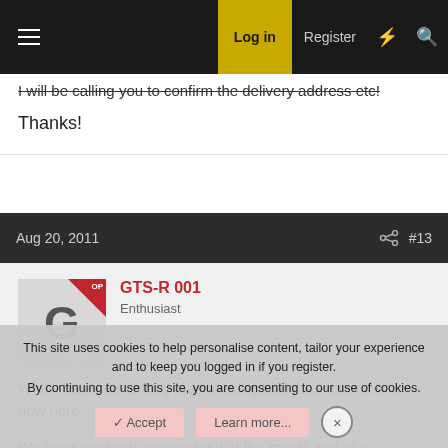Log in  Register
I will be calling you to confirm the delivery address etc!

Thanks!
Aug 20, 2011  #13
GTS-R 001
Enthusiast
Well it has been a long road to completion but that time is now here.

We have our parts popping out of the molds and all is
This site uses cookies to help personalise content, tailor your experience and to keep you logged in if you register.
By continuing to use this site, you are consenting to our use of cookies.